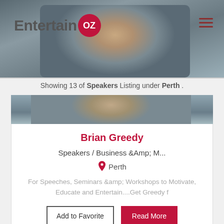[Figure (screenshot): Website header with blurred portrait photo background, Entertain OZ logo with pink circular badge, and hamburger menu icon top right]
Showing 13 of Speakers Listing under Perth .
[Figure (photo): Close-up cropped portrait photo of Brian Greedy showing eyes and forehead]
Brian Greedy
Speakers / Business &Amp; M...
Perth
For Speeches, Seminars &amp; Workshops to Motivate, Educate and Entertain....Get Greedy f
Add to Favorite
Read More